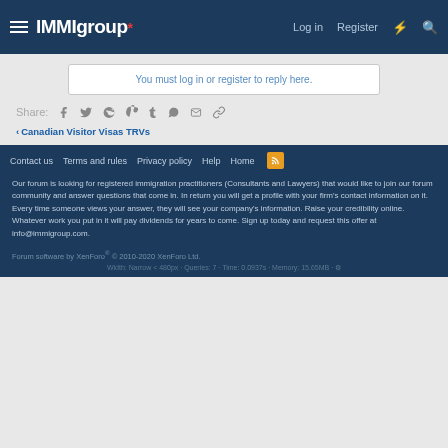IMMIgroup — Log in | Register
You must log in or register to reply here.
Share:
Canadian Visitor Visas TRVs
Contact us  Terms and rules  Privacy policy  Help  Home
Our forum is looking for registered immigration practitioners (Consultants and Lawyers) that would like to join our forum community and answer questions that come in. In return you will get a profile with your firm's contact information on it. Every time someone views your answer, they will see your company's information. Raise your credibility online. Whatever work you put in it will pay dividends for years to come. Sign up today and request this offer at info@immigroup.com.
Forum software by XenForo® © 2010-2020 XenForo Ltd.
Width: Narrow < 480px · Queries: 7 · Time: 0.0937s · Memory: 15.65MB ·